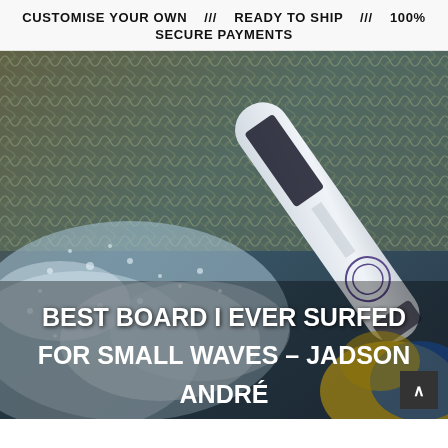CUSTOMISE YOUR OWN /// READY TO SHIP /// 100% SECURE PAYMENTS
[Figure (photo): Action photo of a surfer holding a surfboard with 'HAYDENSHAPES' branding, with water spray and a chain-link fence visible in the background. White text overlaid reads: BEST BOARD I EVER SURFED FOR SMALL WAVES – JADSON ANDRÉ]